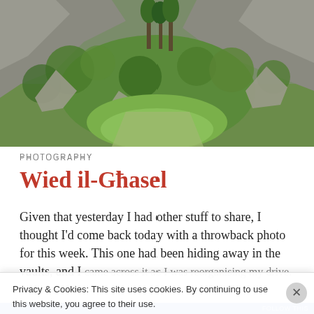[Figure (photo): Aerial/wide-angle photo of a rocky hillside valley with lush green vegetation, shrubs, and rocky terrain — Wied il-Għasel, Malta]
PHOTOGRAPHY
Wied il-Għasel
Given that yesterday I had other stuff to share, I thought I'd come back today with a throwback photo for this week. This one had been hiding away in the vaults, and I came across it as I was reorganising my drive.
Privacy & Cookies: This site uses cookies. By continuing to use this website, you agree to their use.
To find out more, including how to control cookies, see here: Cookie Policy